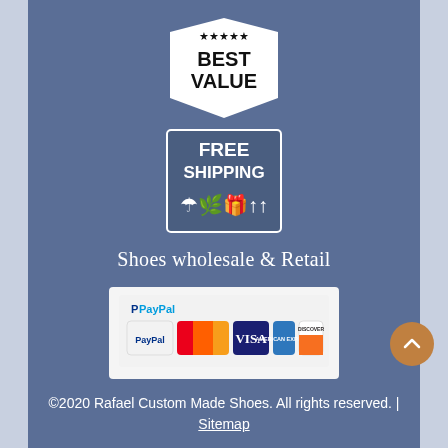[Figure (logo): Best Value badge with 5 stars and speech bubble shape, black text on white background]
[Figure (logo): Free Shipping badge with umbrella and package handling icons, white text on dark background with border]
Shoes wholesale & Retail
[Figure (logo): PayPal accepted payment methods banner showing PayPal, MasterCard, Visa, American Express, and Discover logos]
©2020 Rafael Custom Made Shoes. All rights reserved. | Sitemap
custom made shoes, custom shoes, custom shoes nyc, midtown shoes, chelsea shoes, rafaello custom made shoes, rafaello shoes, custom women shoes, custom made heels, custom made boots, private label, custom made sneakers, shoe manufacturer, prototype shoes, high heels, heels, platform heels, and more...